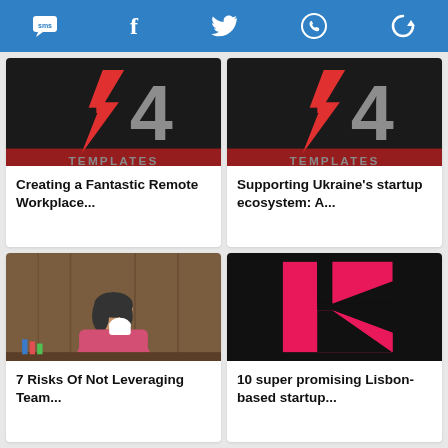Social share icons bar: SMS, Facebook, Twitter, WhatsApp, Share
[Figure (screenshot): Article thumbnail showing a dark logo with red lightning bolt and text 'TEMPLATES']
Creating a Fantastic Remote Workplace...
[Figure (screenshot): Article thumbnail showing a dark logo with red lightning bolt and text 'TEMPLATES']
Supporting Ukraine's startup ecosystem: A...
[Figure (photo): Woman in pink jacket drinking from a white cup at a desk]
7 Risks Of Not Leveraging Team...
[Figure (logo): Pink and black geometric logo with K-shape pattern]
10 super promising Lisbon-based startup...